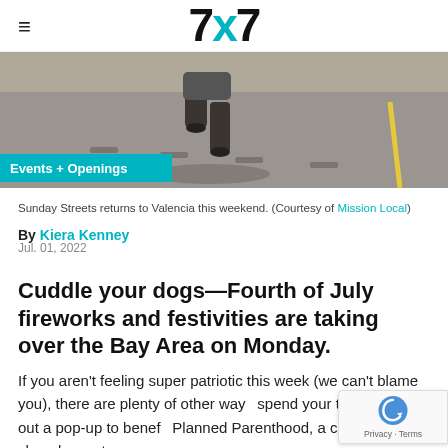7x7
[Figure (photo): Street-level photo of a person walking on pavement with yellow road markings, taken from behind, sunny day.]
Sunday Streets returns to Valencia this weekend. (Courtesy of Mission Local)
By Kiera Kenney
Jul. 01, 2022
Cuddle your dogs—Fourth of July fireworks and festivities are taking over the Bay Area on Monday.
If you aren't feeling super patriotic this week (we can't blame you), there are plenty of other ways to spend your time. Check out a pop-up to benefit Planned Parenthood, a cocktail showdown at